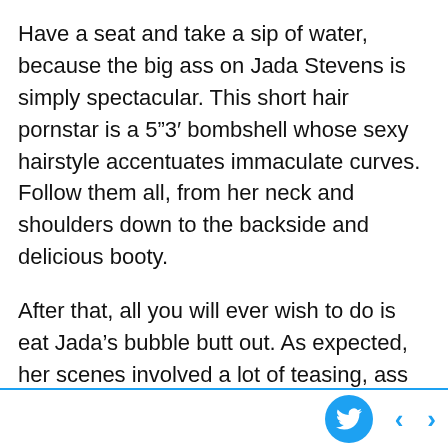Have a seat and take a sip of water, because the big ass on Jada Stevens is simply spectacular. This short hair pornstar is a 5"3' bombshell whose sexy hairstyle accentuates immaculate curves. Follow them all, from her neck and shoulders down to the backside and delicious booty.
After that, all you will ever wish to do is eat Jada's bubble butt out. As expected, her scenes involved a lot of teasing, ass worship, oil, and of course wild, naked sex. See everything on Brazzers.com.
These are our favorite PERFORMERS with short hair. From teen pornstars to MILFs, our team has